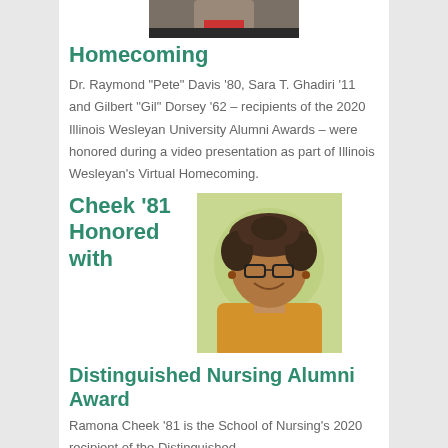[Figure (photo): Photo of a man wearing a suit and red tie, partially visible at top of page]
Homecoming
Dr. Raymond "Pete" Davis '80, Sara T. Ghadiri '11 and Gilbert "Gil" Dorsey '62 – recipients of the 2020 Illinois Wesleyan University Alumni Awards – were honored during a video presentation as part of Illinois Wesleyan's Virtual Homecoming.
Cheek '81 Honored with
[Figure (photo): Photo of a smiling woman with curly hair, glasses, and a yellow/mustard cardigan, with a green background]
Distinguished Nursing Alumni Award
Ramona Cheek '81 is the School of Nursing's 2020 recipient of the Distinguished